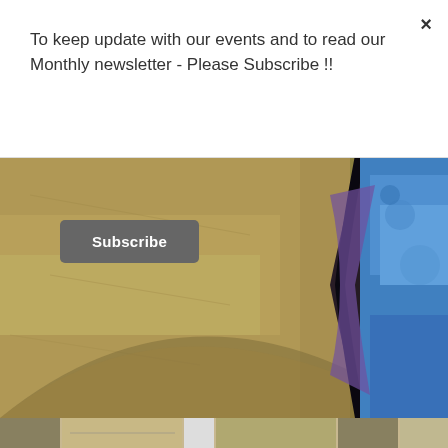To keep update with our events and to read our Monthly newsletter - Please Subscribe !!
Subscribe
[Figure (photo): Close-up macro photo showing two rounded objects side by side — a golden/tan colored object on the left and a blue object on the right, with a dark narrow gap between them, likely ping pong balls or ceramic objects.]
[Figure (photo): Thumbnail strip at the bottom showing partial small images.]